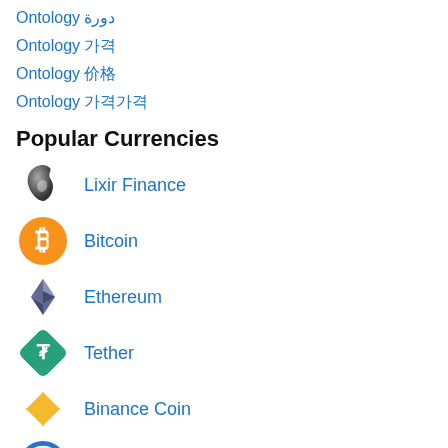Ontology دورة
Ontology 가격
Ontology 价格
Ontology 가격
Popular Currencies
Lixir Finance
Bitcoin
Ethereum
Tether
Binance Coin
USD Coin
BNB
XRP